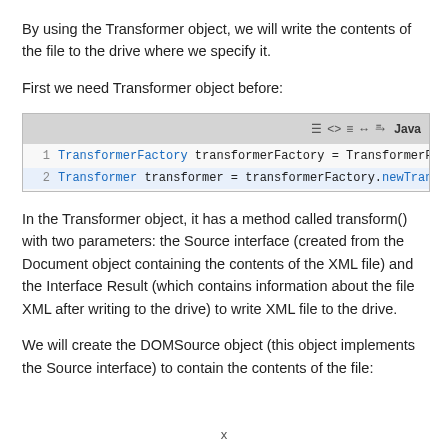By using the Transformer object, we will write the contents of the file to the drive where we specify it.
First we need Transformer object before:
[Figure (screenshot): Code snippet in a code editor box showing Java code: line 1: TransformerFactory transformerFactory = TransformerFactor..., line 2: Transformer transformer = transformerFactory.newTransform...]
In the Transformer object, it has a method called transform() with two parameters: the Source interface (created from the Document object containing the contents of the XML file) and the Interface Result (which contains information about the file XML after writing to the drive) to write XML file to the drive.
We will create the DOMSource object (this object implements the Source interface) to contain the contents of the file:
x